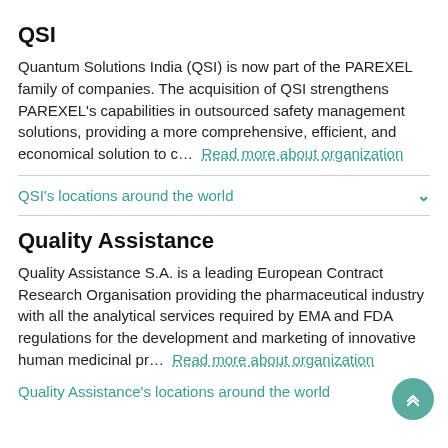QSI
Quantum Solutions India (QSI) is now part of the PAREXEL family of companies. The acquisition of QSI strengthens PAREXEL's capabilities in outsourced safety management solutions, providing a more comprehensive, efficient, and economical solution to c...  Read more about organization
QSI's locations around the world
Quality Assistance
Quality Assistance S.A. is a leading European Contract Research Organisation providing the pharmaceutical industry with all the analytical services required by EMA and FDA regulations for the development and marketing of innovative human medicinal pr...  Read more about organization
Quality Assistance's locations around the world